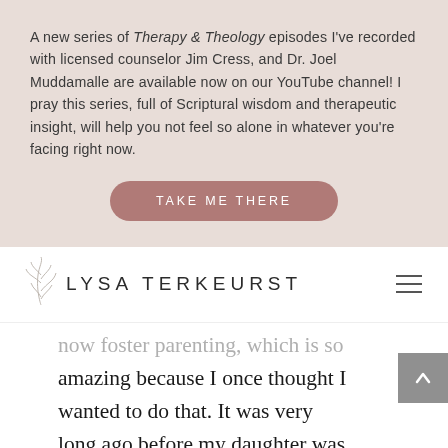A new series of Therapy & Theology episodes I've recorded with licensed counselor Jim Cress, and Dr. Joel Muddamalle are available now on our YouTube channel! I pray this series, full of Scriptural wisdom and therapeutic insight, will help you not feel so alone in whatever you're facing right now.
TAKE ME THERE
[Figure (logo): Lysa TerKeurst logo with decorative leaf/branch illustration]
now foster parenting, which is so amazing because I once thought I wanted to do that. It was very long ago before my daughter was even thought of. But my husband wasn't on board. Somehow I think that dream is being lived out